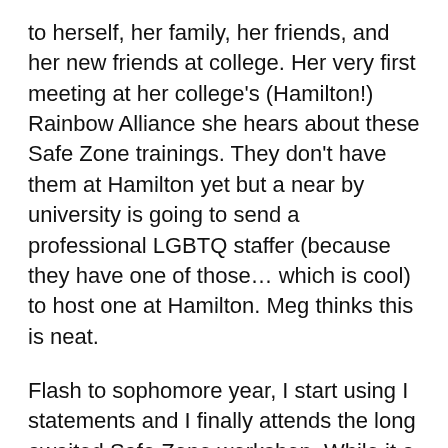to herself, her family, her friends, and her new friends at college.  Her very first meeting at her college's (Hamilton!) Rainbow Alliance she hears about these Safe Zone trainings.  They don't have them at Hamilton yet but a near by university is going to send a professional LGBTQ staffer (because they have one of those… which is cool) to host one at Hamilton. Meg thinks this is neat.
Flash to sophomore year, I start using I statements and I finally attends the long awaited Safe Zone workshop.  While it a tad rushed the experience, I'm totally hooked. Hamilton has no Safe Zone program or LGBTQ office.  My supplies consist of the information I was given in that single Safe Zone I attended and my experience from being a participant in the workshop, but its enough.  I start